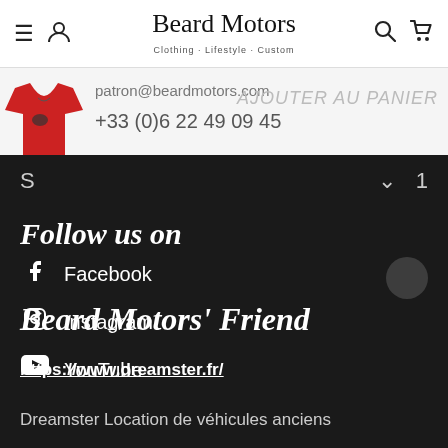Beard Motors — Clothing · Lifestyle · Custom — Navigation header with menu, user, search, cart icons
patron@beardmotors.com
+33 (0)6 22 49 09 45
AJOUTER AU PANIER
S   ∨   1
Follow us on
Facebook
Instagram
YouTube
Beard Motors' Friend
https://www.dreamster.fr/
Dreamster Location de véhicules anciens